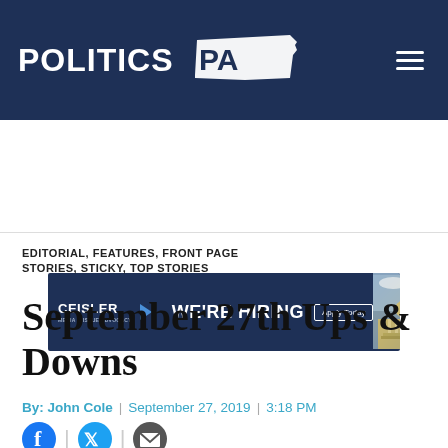POLITICS PA
[Figure (screenshot): Ceisler Media & Issue Advocacy advertisement banner reading WE'RE HIRING with Apply Today button and Pennsylvania Capitol building photo]
EDITORIAL, FEATURES, FRONT PAGE STORIES, STICKY, TOP STORIES
September 27th Ups & Downs
By: John Cole | September 27, 2019 | 3:18 PM